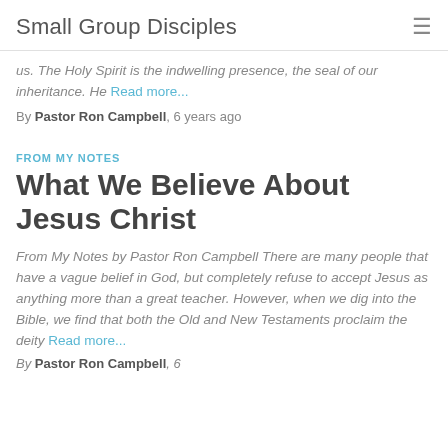Small Group Disciples
us. The Holy Spirit is the indwelling presence, the seal of our inheritance. He Read more...
By Pastor Ron Campbell, 6 years ago
FROM MY NOTES
What We Believe About Jesus Christ
From My Notes by Pastor Ron Campbell There are many people that have a vague belief in God, but completely refuse to accept Jesus as anything more than a great teacher. However, when we dig into the Bible, we find that both the Old and New Testaments proclaim the deity Read more...
By Pastor Ron Campbell, 6 years ago